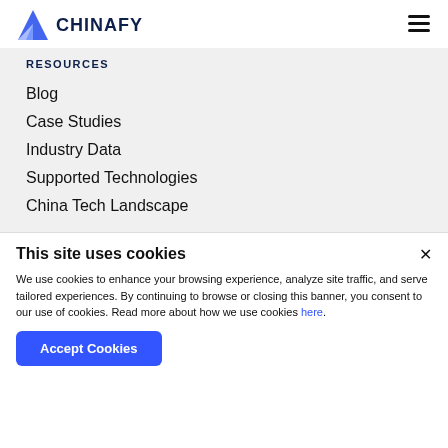CHINAFY
RESOURCES
Blog
Case Studies
Industry Data
Supported Technologies
China Tech Landscape
This site uses cookies
We use cookies to enhance your browsing experience, analyze site traffic, and serve tailored experiences. By continuing to browse or closing this banner, you consent to our use of cookies. Read more about how we use cookies here.
Accept Cookies